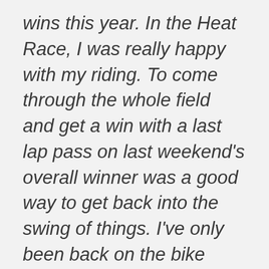wins this year. In the Heat Race, I was really happy with my riding. To come through the whole field and get a win with a last lap pass on last weekend's overall winner was a good way to get back into the swing of things. I've only been back on the bike about a week now, so I was really happy with my race craft and I